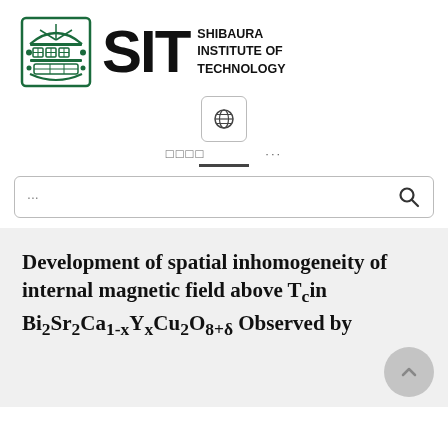[Figure (logo): Shibaura Institute of Technology logo with emblem, SIT letters, and institution name]
[Figure (screenshot): UI elements: globe icon button, Japanese text placeholders, ellipsis, divider line, and search bar with magnifying glass icon]
Development of spatial inhomogeneity of internal magnetic field above T_c in Bi2Sr2Ca1-xYxCu2O8+δ Observed by